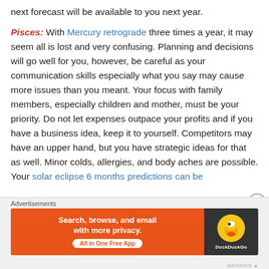next forecast will be available to you next year.
Pisces: With Mercury retrograde three times a year, it may seem all is lost and very confusing. Planning and decisions will go well for you, however, be careful as your communication skills especially what you say may cause more issues than you meant. Your focus with family members, especially children and mother, must be your priority. Do not let expenses outpace your profits and if you have a business idea, keep it to yourself. Competitors may have an upper hand, but you have strategic ideas for that as well. Minor colds, allergies, and body aches are possible. Your solar eclipse 6 months predictions can be
[Figure (infographic): DuckDuckGo advertisement banner: orange left panel with text 'Search, browse, and email with more privacy. All in One Free App', dark right panel with DuckDuckGo duck logo]